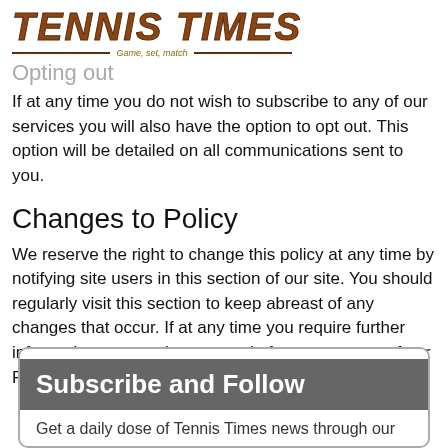[Figure (logo): Tennis Times logo with italic bold text and tagline 'Game, set, match']
Opting out
If at any time you do not wish to subscribe to any of our services you will also have the option to opt out. This option will be detailed on all communications sent to you.
Changes to Policy
We reserve the right to change this policy at any time by notifying site users in this section of our site. You should regularly visit this section to keep abreast of any changes that occur. If at any time you require further information on any changes, or in fact any aspect of our Privacy Policy.
Subscribe and Follow
Get a daily dose of Tennis Times news through our